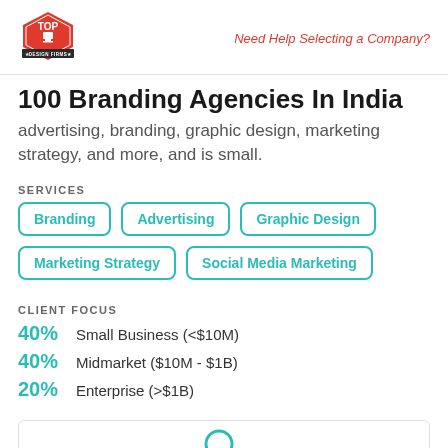Top Design Firms | Need Help Selecting a Company?
100 Branding Agencies In India
advertising, branding, graphic design, marketing strategy, and more, and is small.
SERVICES
Branding
Advertising
Graphic Design
Marketing Strategy
Social Media Marketing
CLIENT FOCUS
40% Small Business (<$10M)
40% Midmarket ($10M - $1B)
20% Enterprise (>$1B)
[Figure (illustration): Partial icon/illustration at the bottom of the page]